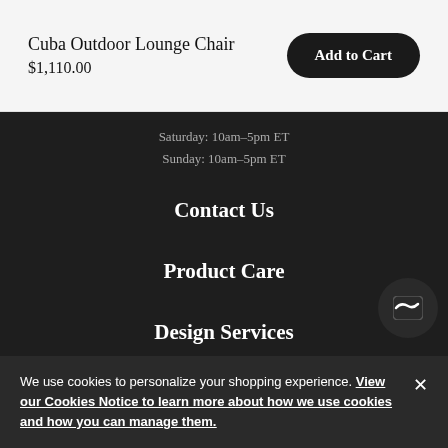Cuba Outdoor Lounge Chair
$1,110.00
Add to Cart
Saturday: 10am–5pm ET
Sunday: 10am–5pm ET
Contact Us
Product Care
Design Services
Shipping + Returns
Visit a Studio
We use cookies to personalize your shopping experience. View our Cookies Notice to learn more about how we use cookies and how you can manage them.